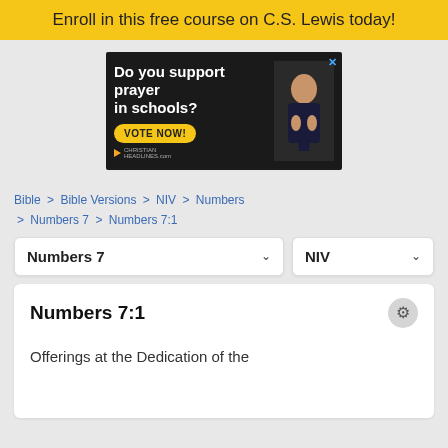Enroll in this free course on C.S. Lewis today!
[Figure (screenshot): Advertisement: 'Do you support prayer in schools? VOTE NOW!' with image of child praying, on dark background. Christian Headlines logo shown.]
Bible > Bible Versions > NIV > Numbers > Numbers 7 > Numbers 7:1
Numbers 7
NIV
Numbers 7:1
Offerings at the Dedication of the